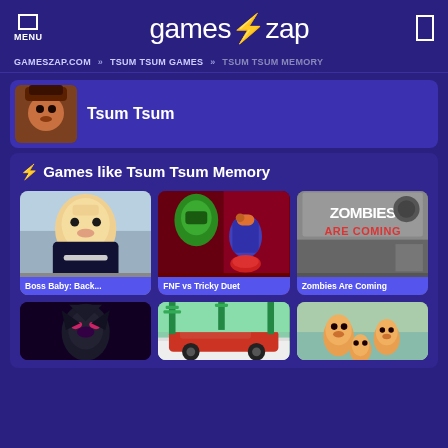MENU | games⚡zap
GAMESZAP.COM » TSUM TSUM GAMES » TSUM TSUM MEMORY
Tsum Tsum
⚡ Games like Tsum Tsum Memory
[Figure (photo): Boss Baby: Back... game thumbnail - animated baby in suit]
Boss Baby: Back...
[Figure (photo): FNF vs Tricky Duet game thumbnail - Friday Night Funkin characters]
FNF vs Tricky Duet
[Figure (photo): Zombies Are Coming game thumbnail - zombie game logo]
Zombies Are Coming
[Figure (photo): Dark superhero character thumbnail]
[Figure (photo): Car racing tropical scene thumbnail]
[Figure (photo): Daniel Tiger characters thumbnail]